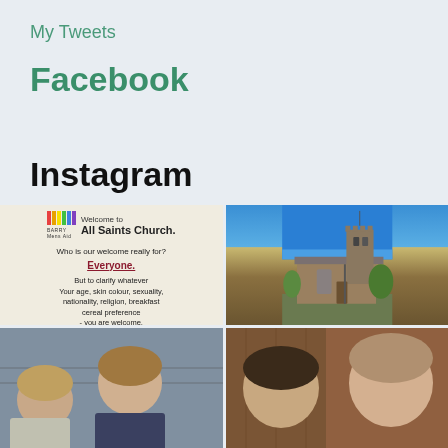My Tweets
Facebook
Instagram
[Figure (photo): Church sign reading 'Welcome to All Saints Church. Who is our welcome really for? Everyone. But to clarify whatever Your age, skin colour, sexuality, nationality, religion, breakfast cereal preference - you are welcome. (After all Rev's Zoë doesn't like gravy and that's just weird). All we want to do is say hello']
[Figure (photo): Exterior photo of All Saints Church stone building with tower against blue sky]
[Figure (photo): People standing outdoors, partially cropped]
[Figure (photo): People portrait photo, partially cropped]